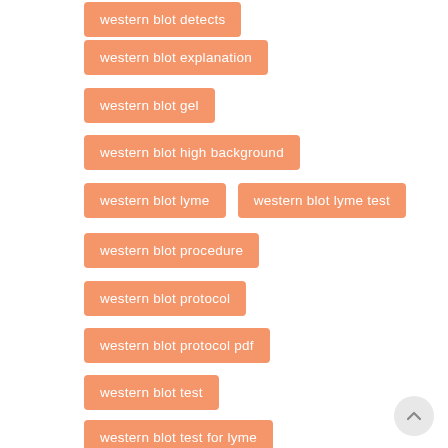western blot detects
western blot explanation
western blot gel
western blot high background
western blot lyme
western blot lyme test
western blot procedure
western blot protocol
western blot protocol pdf
western blot test
western blot test for lyme